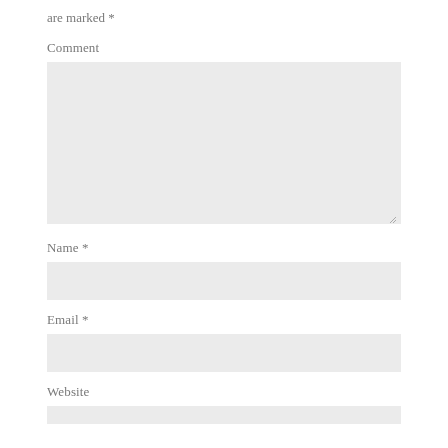are marked *
Comment
Name *
Email *
Website